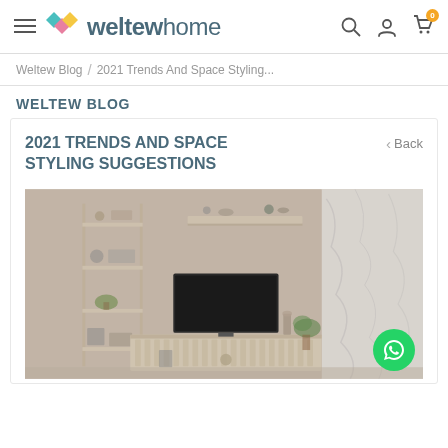weltewhome — navigation header with hamburger menu, logo, search, account, and cart icons
Weltew Blog / 2021 Trends And Space Styling...
WELTEW BLOG
2021 TRENDS AND SPACE STYLING SUGGESTIONS
Back
[Figure (photo): Living room furniture display showing a TV unit with shelving, a flat screen TV, decorative items, plants, and a marble-textured wall panel]